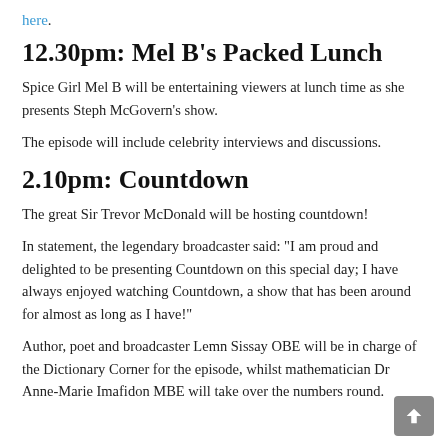here.
12.30pm: Mel B's Packed Lunch
Spice Girl Mel B will be entertaining viewers at lunch time as she presents Steph McGovern's show.
The episode will include celebrity interviews and discussions.
2.10pm: Countdown
The great Sir Trevor McDonald will be hosting countdown!
In statement, the legendary broadcaster said: "I am proud and delighted to be presenting Countdown on this special day; I have always enjoyed watching Countdown, a show that has been around for almost as long as I have!"
Author, poet and broadcaster Lemn Sissay OBE will be in charge of the Dictionary Corner for the episode, whilst mathematician Dr Anne-Marie Imafidon MBE will take over the numbers round.